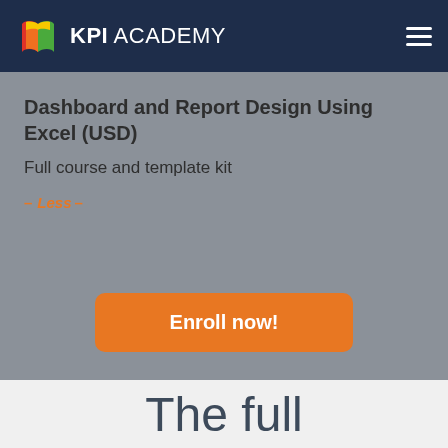KPI ACADEMY
Dashboard and Report Design Using Excel (USD)
Full course and template kit
– Less –
Enroll now!
The full